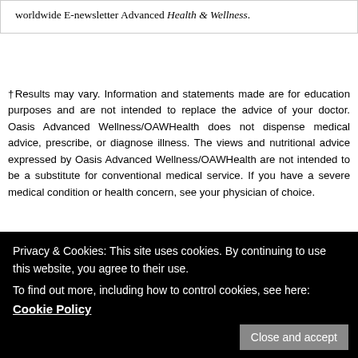worldwide E-newsletter Advanced Health & Wellness.
†Results may vary. Information and statements made are for education purposes and are not intended to replace the advice of your doctor. Oasis Advanced Wellness/OAWHealth does not dispense medical advice, prescribe, or diagnose illness. The views and nutritional advice expressed by Oasis Advanced Wellness/OAWHealth are not intended to be a substitute for conventional medical service. If you have a severe medical condition or health concern, see your physician of choice.
Related Posts
[Figure (photo): Photo of Holy Basil (Tulsi) plant]
[Figure (photo): Photo related to Fringe Tree Bark with text overlay]
[Figure (photo): Photo of Evening Primrose plant]
[Figure (photo): Photo related to Sweating topic]
Privacy & Cookies: This site uses cookies. By continuing to use this website, you agree to their use.
To find out more, including how to control cookies, see here: Cookie Policy
of Holy Basil (Tulsi)
of Fringe Tree Bark
of Evening Primrose
of Sweating